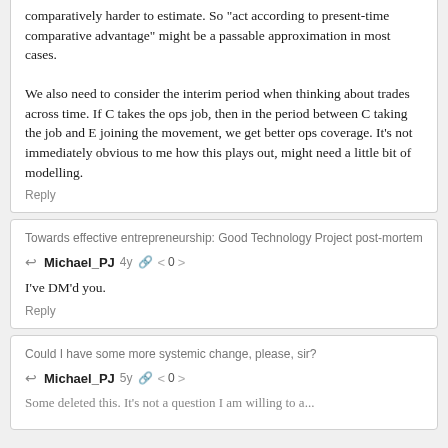comparatively harder to estimate. So "act according to present-time comparative advantage" might be a passable approximation in most cases.

We also need to consider the interim period when thinking about trades across time. If C takes the ops job, then in the period between C taking the job and E joining the movement, we get better ops coverage. It's not immediately obvious to me how this plays out, might need a little bit of modelling.
Reply
Towards effective entrepreneurship: Good Technology Project post-mortem
Michael_PJ  4y  0
I've DM'd you.
Reply
Could I have some more systemic change, please, sir?
Michael_PJ  5y  0
Some deleted this. It's not a question I am willing to a...